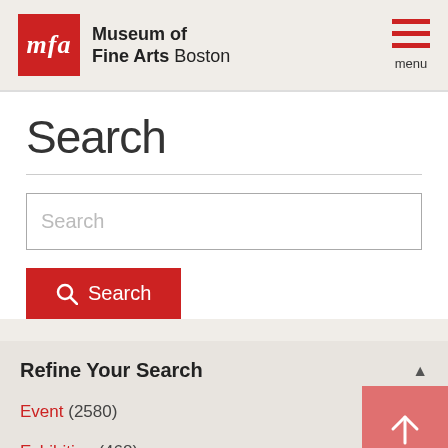Museum of Fine Arts Boston — menu
Search
Search (input field)
Search (button)
Refine Your Search
Event (2580)
Exhibition (468)